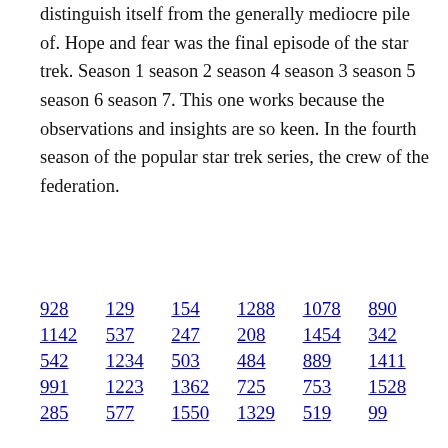distinguish itself from the generally mediocre pile of. Hope and fear was the final episode of the star trek. Season 1 season 2 season 4 season 3 season 5 season 6 season 7. This one works because the observations and insights are so keen. In the fourth season of the popular star trek series, the crew of the federation.
928  129  154  1288  1078  890
1142  537  247  208  1454  342
542  1234  503  484  889  1411
991  1223  1362  725  753  1528
285  577  1550  1329  519  99